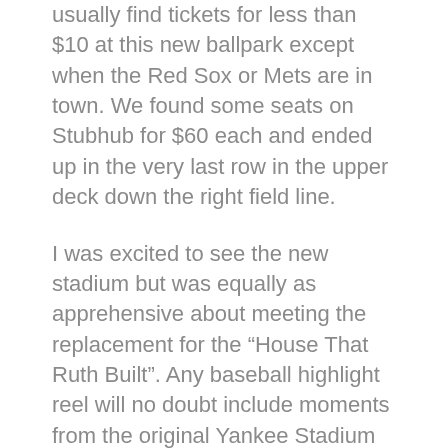usually find tickets for less than $10 at this new ballpark except when the Red Sox or Mets are in town.  We found some seats on Stubhub for $60 each and ended up in the very last row in the upper deck down the right field line.
I was excited to see the new stadium but was equally as apprehensive about meeting the replacement for the “House That Ruth Built”.  Any baseball highlight reel will no doubt include moments from the original Yankee Stadium as so many great players and teams have donned the pinstripes.
I got an eery feeling as we walked off the subway to see the shell of the old Yankee Stadium sitting empty and neglected as the new stadium was full of life.  The crypt-like existence of perhaps the most famous facility in all of sports was a sad sight for this lifelong baseball fan.  I have